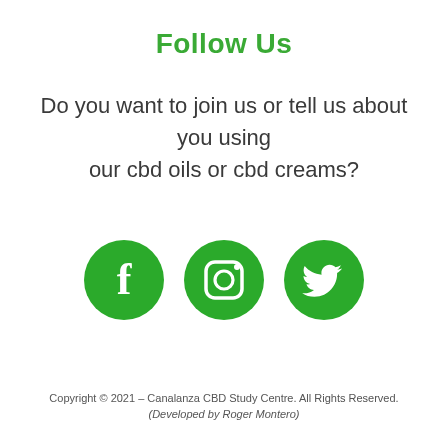Follow Us
Do you want to join us or tell us about you using our cbd oils or cbd creams?
[Figure (illustration): Three green circular social media icons: Facebook (f logo), Instagram (camera logo), and Twitter (bird logo)]
Copyright © 2021 – Canalanza CBD Study Centre. All Rights Reserved.
(Developed by Roger Montero)